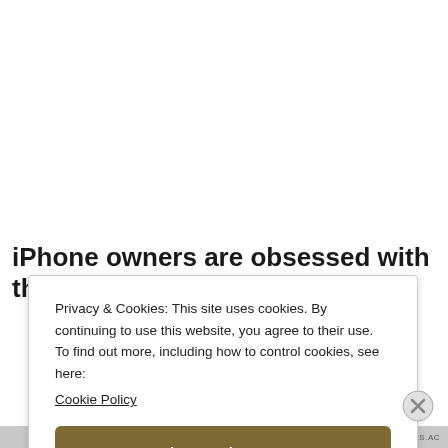iPhone owners are obsessed with this Marvel
Privacy & Cookies: This site uses cookies. By continuing to use this website, you agree to their use.
To find out more, including how to control cookies, see here:
Cookie Policy
Close and accept
HIPPOCRATES.AC